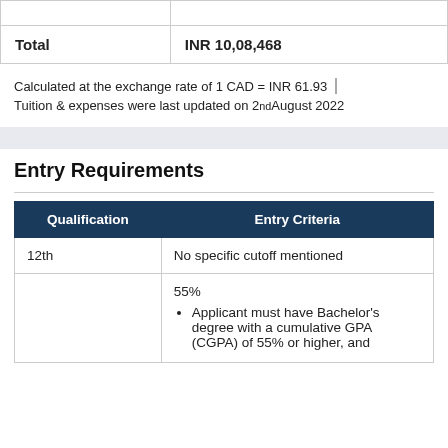|  |  |
| --- | --- |
|  |  |
| Total | INR 10,08,468 |
Calculated at the exchange rate of 1 CAD = INR 61.93
Tuition & expenses were last updated on 2nd August 2022
Entry Requirements
| Qualification | Entry Criteria |
| --- | --- |
| 12th | No specific cutoff mentioned |
|  | 55%
Applicant must have Bachelor's degree with a cumulative GPA (CGPA) of 55% or higher, and... |